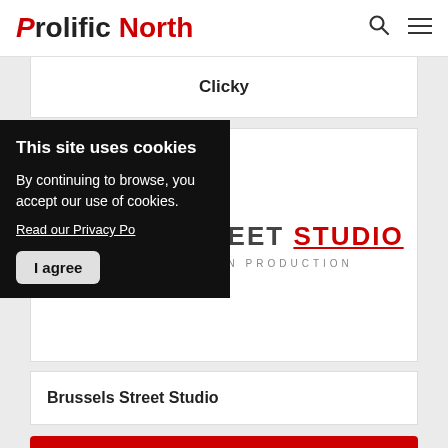Prolific North
Clicky
[Figure (logo): Brussels Street Studio logo with text 'USSELS STREET STUDIO' in dark and red lettering, subtitle 'PHOTO & MOTION PRODUCTION']
Brussels Street Studio
This site uses cookies
By continuing to browse, you accept our use of cookies.
Read our Privacy Po
I agree